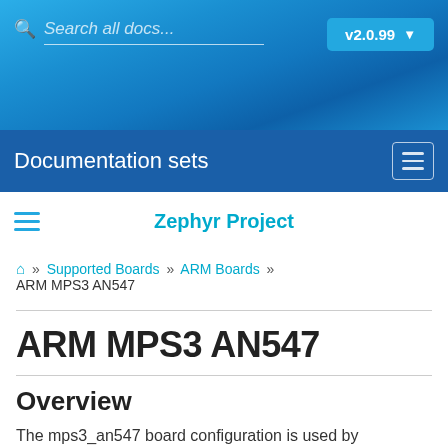Search all docs... v2.0.99
Documentation sets
Zephyr Project
🏠 » Supported Boards » ARM Boards » ARM MPS3 AN547
ARM MPS3 AN547
Overview
The mps3_an547 board configuration is used by